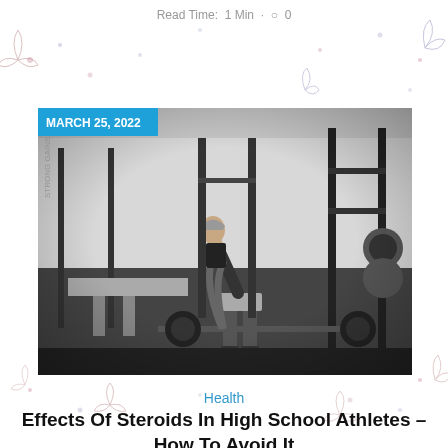Read Time:  1 Min   ○  0
[Figure (photo): A woman in athletic wear bending to lift a barbell in a gym with power racks and weights in the background, black and white photo with date badge 'MARCH 25, 2022' overlaid]
Health
Effects Of Steroids In High School Athletes – How To Avoid It